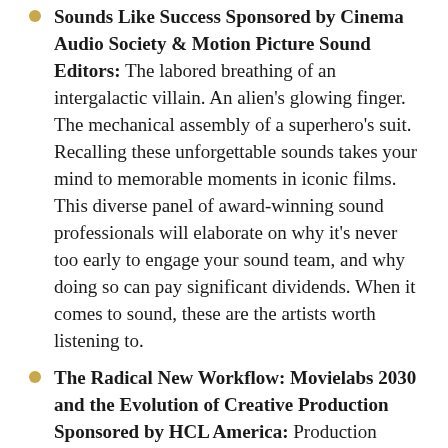Sounds Like Success Sponsored by Cinema Audio Society & Motion Picture Sound Editors: The labored breathing of an intergalactic villain. An alien's glowing finger. The mechanical assembly of a superhero's suit. Recalling these unforgettable sounds takes your mind to memorable moments in iconic films. This diverse panel of award-winning sound professionals will elaborate on why it's never too early to engage your sound team, and why doing so can pay significant dividends. When it comes to sound, these are the artists worth listening to.
The Radical New Workflow: Movielabs 2030 and the Evolution of Creative Production Sponsored by HCL America: Production disciplines live on completely isolated technical islands, all with different tools and languages that don't always play well together. Now, imagine a world where the disciplines compete...